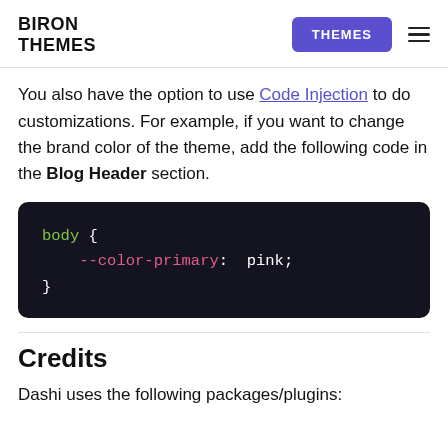BIRON THEMES | THEMES
You also have the option to use Code Injection to do customizations. For example, if you want to change the brand color of the theme, add the following code in the Blog Header section.
[Figure (screenshot): Dark code block showing CSS: body { --color-primary: pink; }]
Credits
Dashi uses the following packages/plugins: